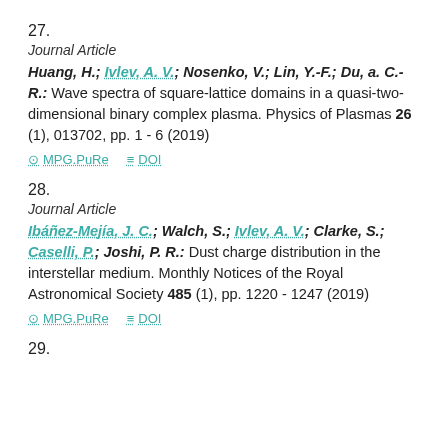27.
Journal Article
Huang, H.; Ivlev, A. V.; Nosenko, V.; Lin, Y.-F.; Du, a. C.-R.: Wave spectra of square-lattice domains in a quasi-two-dimensional binary complex plasma. Physics of Plasmas 26 (1), 013702, pp. 1 - 6 (2019)
MPG.PuRe   DOI
28.
Journal Article
Ibáñez-Mejía, J. C.; Walch, S.; Ivlev, A. V.; Clarke, S.; Caselli, P.; Joshi, P. R.: Dust charge distribution in the interstellar medium. Monthly Notices of the Royal Astronomical Society 485 (1), pp. 1220 - 1247 (2019)
MPG.PuRe   DOI
29.